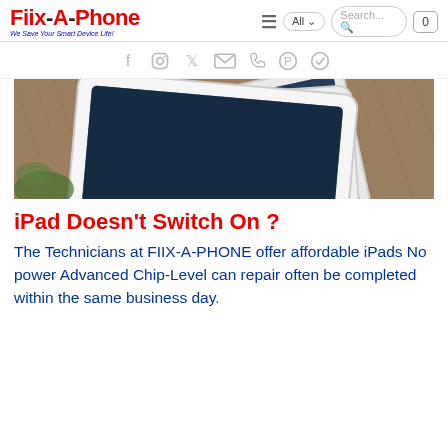Fiix-A-Phone — We Save Your Smart Device Life!
[Figure (illustration): Social media icons row: Facebook, Instagram, Twitter, Email, Phone, Pinterest, Telegram]
[Figure (photo): Three iPads stacked on a wooden surface]
iPad Doesn't Switch On ?
The Technicians at FIIX-A-PHONE offer affordable iPads No power Advanced Chip-Level can repair often be completed within the same business day.